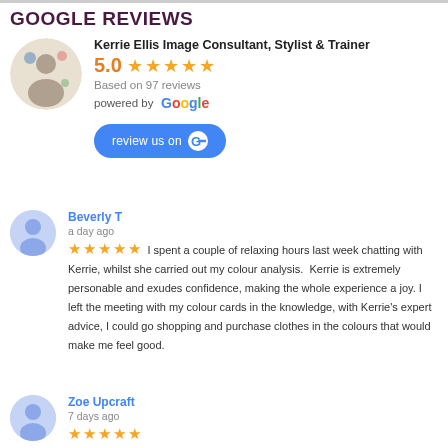GOOGLE REVIEWS
Kerrie Ellis Image Consultant, Stylist & Trainer
5.0 ★★★★★
Based on 97 reviews
powered by Google
review us on G
Beverly T
a day ago
★★★★★ I spent a couple of relaxing hours last week chatting with Kerrie, whilst she carried out my colour analysis. Kerrie is extremely personable and exudes confidence, making the whole experience a joy. I left the meeting with my colour cards in the knowledge, with Kerrie's expert advice, I could go shopping and purchase clothes in the colours that would make me feel good.
Zoe Upcraft
7 days ago
★★★★★